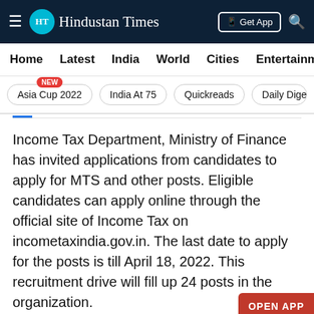≡ HT Hindustan Times | Get App 🔍
Home  Latest  India  World  Cities  Entertainment
Asia Cup 2022 NEW | India At 75 | Quickreads | Daily Dige
Income Tax Department, Ministry of Finance has invited applications from candidates to apply for MTS and other posts. Eligible candidates can apply online through the official site of Income Tax on incometaxindia.gov.in. The last date to apply for the posts is till April 18, 2022. This recruitment drive will fill up 24 posts in the organization.
Advertisement